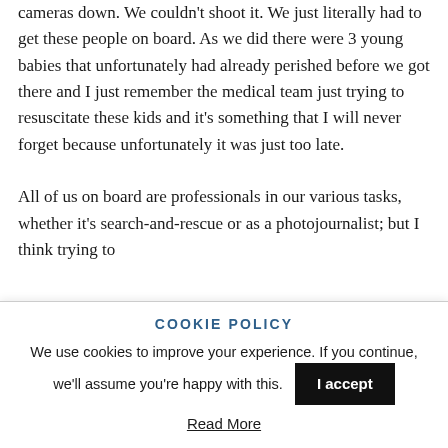cameras down. We couldn't shoot it. We just literally had to get these people on board. As we did there were 3 young babies that unfortunately had already perished before we got there and I just remember the medical team just trying to resuscitate these kids and it's something that I will never forget because unfortunately it was just too late.

All of us on board are professionals in our various tasks, whether it's search-and-rescue or as a photojournalist; but I think trying to
COOKIE POLICY
We use cookies to improve your experience. If you continue, we'll assume you're happy with this.
I accept
Read More